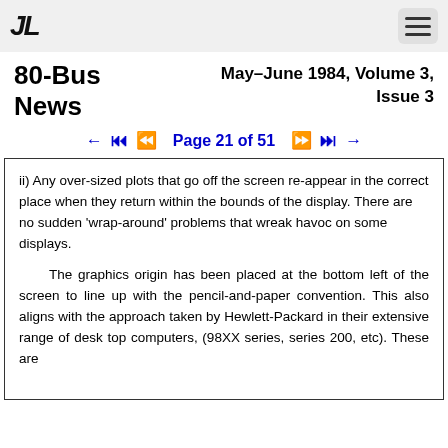80-Bus News | May–June 1984, Volume 3, Issue 3
Page 21 of 51
ii) Any over-sized plots that go off the screen re-appear in the correct place when they return within the bounds of the display. There are no sudden 'wrap-around' problems that wreak havoc on some displays.
The graphics origin has been placed at the bottom left of the screen to line up with the pencil-and-paper convention. This also aligns with the approach taken by Hewlett-Packard in their extensive range of desk top computers, (98XX series, series 200, etc). These are